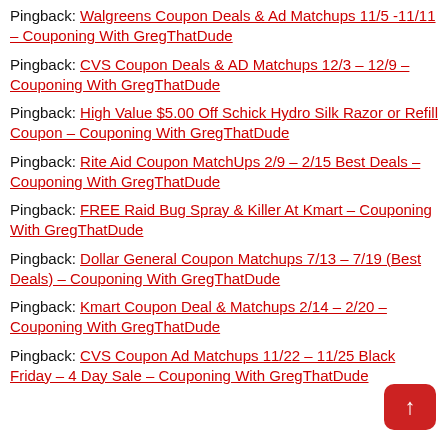Pingback: Walgreens Coupon Deals & Ad Matchups 11/5 -11/11 – Couponing With GregThatDude
Pingback: CVS Coupon Deals & AD Matchups 12/3 – 12/9 – Couponing With GregThatDude
Pingback: High Value $5.00 Off Schick Hydro Silk Razor or Refill Coupon – Couponing With GregThatDude
Pingback: Rite Aid Coupon MatchUps 2/9 – 2/15 Best Deals – Couponing With GregThatDude
Pingback: FREE Raid Bug Spray & Killer At Kmart – Couponing With GregThatDude
Pingback: Dollar General Coupon Matchups 7/13 – 7/19 (Best Deals) – Couponing With GregThatDude
Pingback: Kmart Coupon Deal & Matchups 2/14 – 2/20 – Couponing With GregThatDude
Pingback: CVS Coupon Ad Matchups 11/22 – 11/25 Black Friday – 4 Day Sale – Couponing With GregThatDude